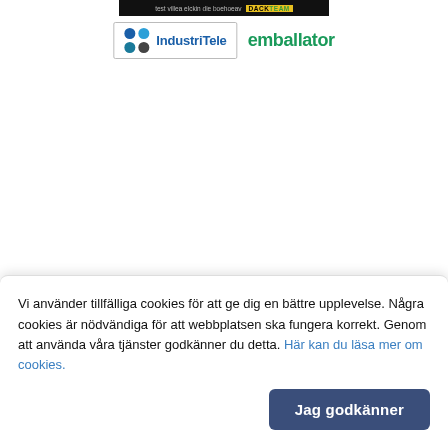[Figure (logo): Top dark banner with text 'test villea elckin die boehoeav' and 'DACK TEAM' yellow label]
[Figure (logo): IndustriTele logo (blue dot grid with company name) and emballator logo in green bold text, side by side]
Vi använder tillfälliga cookies för att ge dig en bättre upplevelse. Några cookies är nödvändiga för att webbplatsen ska fungera korrekt. Genom att använda våra tjänster godkänner du detta. Här kan du läsa mer om cookies.
Jag godkänner